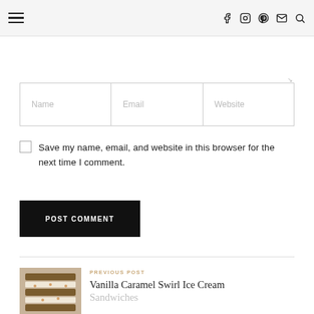≡  f  ◻  ℗  ✉  🔍
| Name | Email | Website |
| --- | --- | --- |
Save my name, email, and website in this browser for the next time I comment.
POST COMMENT
PREVIOUS POST
Vanilla Caramel Swirl Ice Cream Sandwiches
[Figure (photo): Thumbnail image of vanilla caramel swirl ice cream sandwiches stacked]